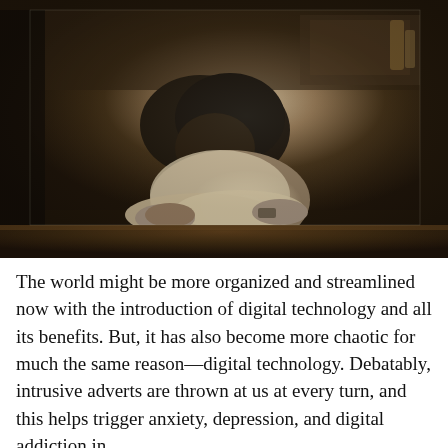[Figure (photo): A person with dark hair slumped over a table with their arms folded, head bowed down in distress or exhaustion. The setting appears to be a dimly lit room with dark furniture in the background. The person is wearing a light-colored shirt.]
The world might be more organized and streamlined now with the introduction of digital technology and all its benefits. But, it has also become more chaotic for much the same reason—digital technology. Debatably, intrusive adverts are thrown at us at every turn, and this helps trigger anxiety, depression, and digital addiction in